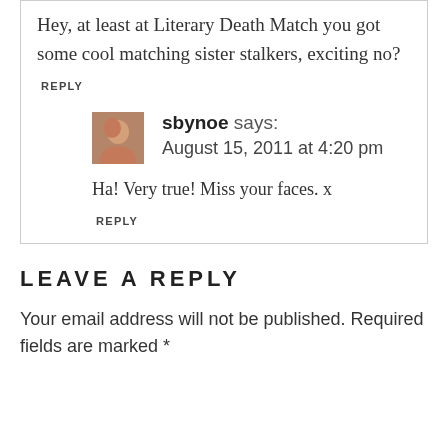Hey, at least at Literary Death Match you got some cool matching sister stalkers, exciting no?
REPLY
sbynoe says: August 15, 2011 at 4:20 pm
Ha! Very true! Miss your faces. x
REPLY
LEAVE A REPLY
Your email address will not be published. Required fields are marked *